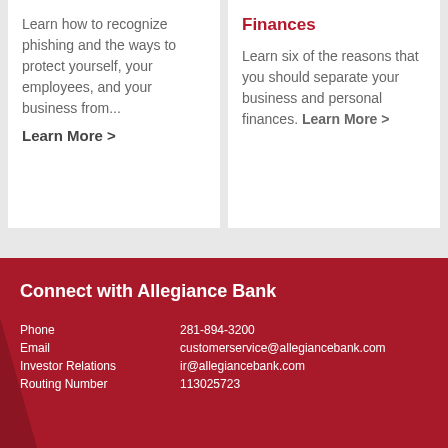Learn how to recognize phishing and the ways to protect yourself, your employees, and your business from... Learn More >
Finances
Learn six of the reasons that you should separate your business and personal finances. Learn More >
Connect with Allegiance Bank
| Phone | 281-894-3200 |
| Email | customerservice@allegiancebank.com |
| Investor Relations | ir@allegiancebank.com |
| Routing Number | 113025723 |